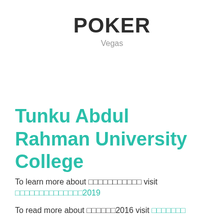POKER
Vegas
Tunku Abdul Rahman University College
To learn more about □□□□□□□□□□□ visit □□□□□□□□□□□□□□2019
To read more about □□□□□□2016 visit □□□□□□□